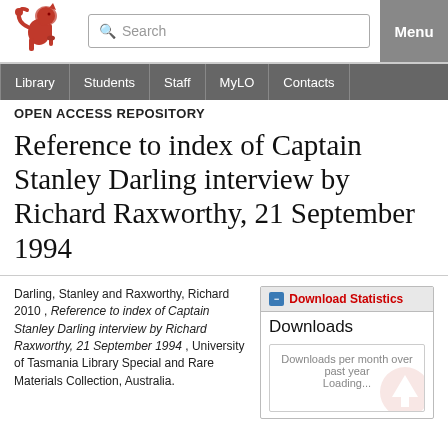[Figure (logo): University of Tasmania red lion rampant logo]
Search | Menu
Library | Students | Staff | MyLO | Contacts
OPEN ACCESS REPOSITORY
Reference to index of Captain Stanley Darling interview by Richard Raxworthy, 21 September 1994
Darling, Stanley and Raxworthy, Richard 2010 , Reference to index of Captain Stanley Darling interview by Richard Raxworthy, 21 September 1994 , University of Tasmania Library Special and Rare Materials Collection, Australia.
Download Statistics
Downloads
Downloads per month over past year
Loading...